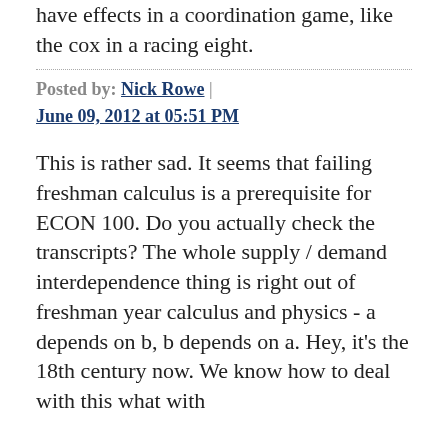have effects in a coordination game, like the cox in a racing eight.
Posted by: Nick Rowe | June 09, 2012 at 05:51 PM
This is rather sad. It seems that failing freshman calculus is a prerequisite for ECON 100. Do you actually check the transcripts? The whole supply / demand interdependence thing is right out of freshman year calculus and physics - a depends on b, b depends on a. Hey, it's the 18th century now. We know how to deal with this what with